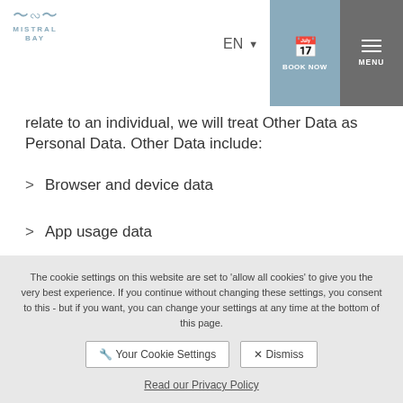Mistral Bay — EN | BOOK NOW | MENU
relate to an individual, we will treat Other Data as Personal Data. Other Data include:
Browser and device data
App usage data
Data collected through cookies, pixel tags and other technologies
Demographic data and other data provided by you
The cookie settings on this website are set to 'allow all cookies' to give you the very best experience. If you continue without changing these settings, you consent to this - but if you want, you can change your settings at any time at the bottom of this page.
Your Cookie Settings   Dismiss
Read our Privacy Policy